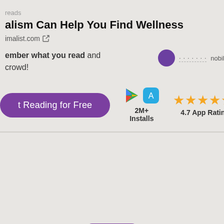reads
alism Can Help You Find Wellness
imalist.com
ember what you read and crowd!
nobile
Reading for Free
2M+ Installs
4.7 App Rating